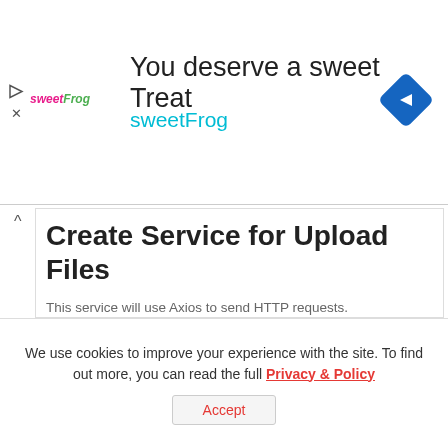[Figure (screenshot): SweetFrog advertisement banner with logo, text 'You deserve a sweet Treat', 'sweetFrog', and a blue diamond navigation icon]
Create Service for Upload Files
This service will use Axios to send HTTP requests.
There are 2 functions:
upload(file) : POST form data with a callback for tracking upload progress
getFiles() : GET list of Files' information
We use cookies to improve your experience with the site. To find out more, you can read the full Privacy & Policy